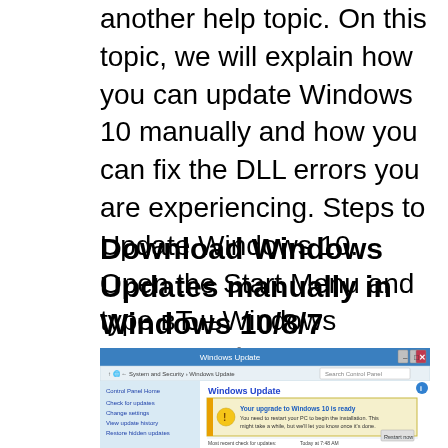another help topic. On this topic, we will explain how you can update Windows 10 manually and how you can fix the DLL errors you are experiencing. Steps to Update Windows 10. Open the Start Menu and type вЂњWindows UpdateвЂќ on your keyboard without clicking.
Download Windows Updates manually in Windows 10/8/7
[Figure (screenshot): Screenshot of Windows Update dialog in Windows 7/8 showing 'Your upgrade to Windows 10 is ready' notification with a Restart now button, Control Panel Home sidebar links, and update status information.]